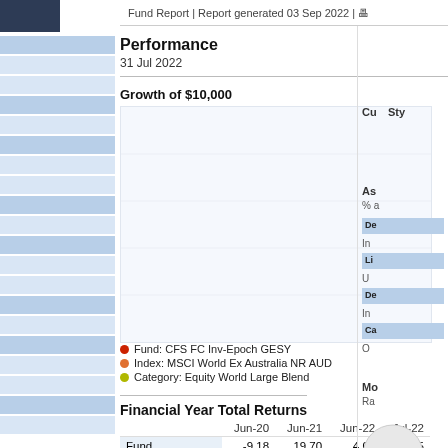Fund Report | Report generated 03 Sep 2022 | [print icon]
Performance
31 Jul 2022
Growth of $10,000
[Figure (line-chart): Growth of $10,000 line chart showing Fund: CFS FC Inv-Epoch GESY, Index: MSCI World Ex Australia NR AUD, and Category: Equity World Large Blend over time. Chart area appears blank/loading in the original.]
Fund: CFS FC Inv-Epoch GESY
Index: MSCI World Ex Australia NR AUD
Category: Equity World Large Blend
Financial Year Total Returns
|  | Jun-20 | Jun-21 | Jun-22 | Jul-22 |
| --- | --- | --- | --- | --- |
| Fund | -9.18 | 19.70 | 4.00 | 1.85 |
| +/- Cat | -12.45 | -7.68 | 14.27 | -3.48 |